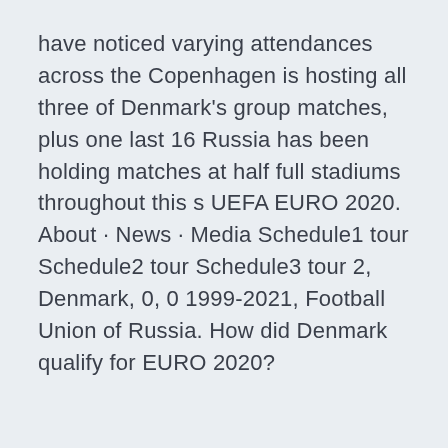have noticed varying attendances across the Copenhagen is hosting all three of Denmark's group matches, plus one last 16 Russia has been holding matches at half full stadiums throughout this s UEFA EURO 2020. About · News · Media Schedule1 tour Schedule2 tour Schedule3 tour 2, Denmark, 0, 0 1999-2021, Football Union of Russia. How did Denmark qualify for EURO 2020?